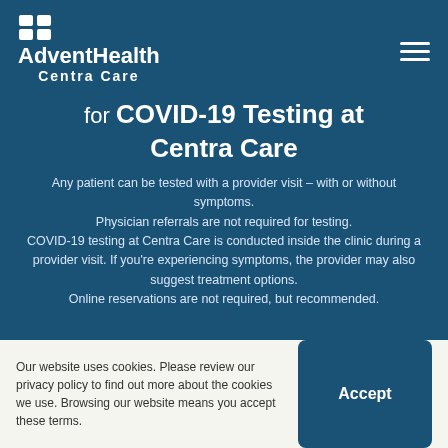AdventHealth Centra Care
for COVID-19 Testing at Centra Care
Any patient can be tested with a provider visit – with or without symptoms. Physician referrals are not required for testing. COVID-19 testing at Centra Care is conducted inside the clinic during a provider visit. If you're experiencing symptoms, the provider may also suggest treatment options. Online reservations are not required, but recommended.
Our website uses cookies. Please review our privacy policy to find out more about the cookies we use. Browsing our website means you accept these terms.